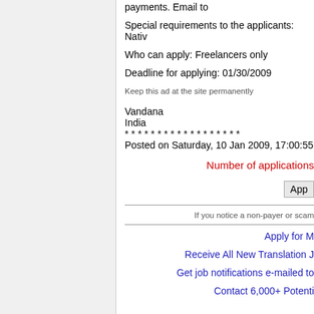payments. Email to
Special requirements to the applicants: Nativ
Who can apply: Freelancers only
Deadline for applying: 01/30/2009
Keep this ad at the site permanently
Vandana
India
* * * * * * * * * * * * * * * * * *
Posted on Saturday, 10 Jan 2009, 17:00:55
Number of applications
App
If you notice a non-payer or scam
Apply for M
Receive All New Translation J
Get job notifications e-mailed to
Contact 6,000+ Potenti